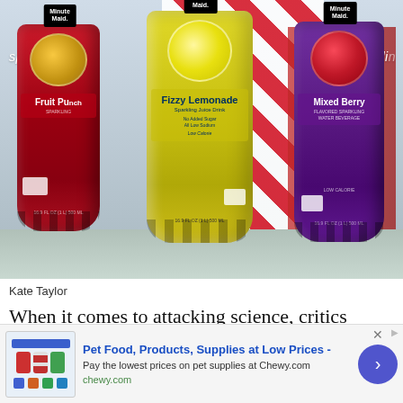[Figure (photo): Three Minute Maid sparkling juice bottles on a counter: Fruit Punch (red), Fizzy Lemonade (yellow), and Mixed Berry (purple). Each bottle has the Minute Maid logo and 'sparkling' text on label.]
Kate Taylor
When it comes to attacking science, critics condemn Coca-Cola's funding of research that emphasizes exercise over dietary changes for health and weight loss. The company promised i…
[Figure (other): Advertisement banner for Chewy.com: Pet Food, Products, Supplies at Low Prices - Pay the lowest prices on pet supplies at Chewy.com. chewy.com]